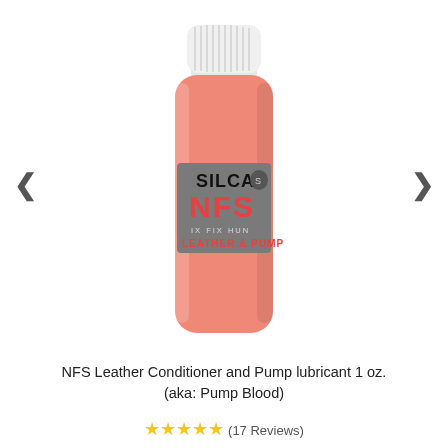[Figure (photo): A small cylindrical plastic bottle with a white ribbed screw cap, filled with translucent pink/salmon liquid. The bottle has a gray label reading 'SILCA NFS' in large letters, with smaller text 'IX FIX HUN' and 'LEATHER & PUMP'. Navigation arrows (< and >) appear on either side of the image.]
NFS Leather Conditioner and Pump lubricant 1 oz.
(aka: Pump Blood)
★★★★★ (17 Reviews)